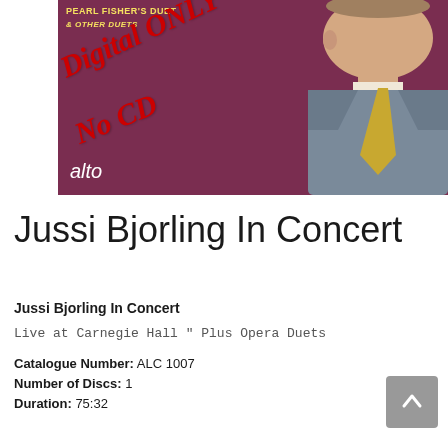[Figure (photo): Album cover for Jussi Bjorling In Concert on Alto label, showing a portrait of a man in a grey suit with yellow tie against a purple/mauve background. Text overlays read 'Digital ONLY No CD' in large red italic lettering, 'alto' in white italic at bottom left, and yellow text at top referencing 'Pearl Fisher's Duet & Other Duets'.]
Jussi Bjorling In Concert
Jussi Bjorling In Concert
Live at Carnegie Hall " Plus Opera Duets
Catalogue Number: ALC 1007
Number of Discs: 1
Duration: 75:32